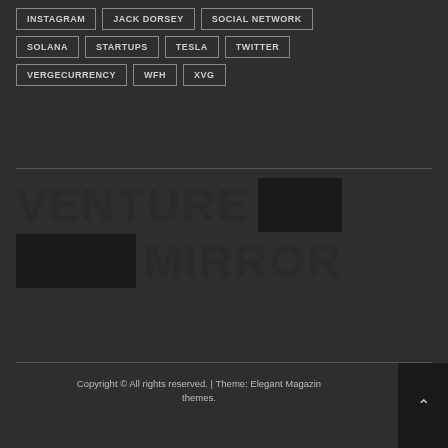INSTAGRAM
JACK DORSEY
SOCIAL NETWORK
SOLANA
STARTUPS
TESLA
TWITTER
VERGECURRENCY
WFH
XVG
[Figure (logo): Venture Mirror logo with large bold text VENTURE and MIRROR, with dark rectangular blocks flanking each word]
Copyright © All rights reserved. | Theme: Elegant Magazine themes.